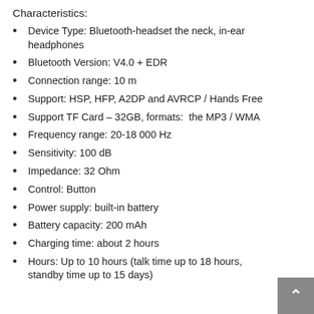Characteristics:
Device Type: Bluetooth-headset the neck, in-ear headphones
Bluetooth Version: V4.0 + EDR
Connection range: 10 m
Support: HSP, HFP, A2DP and AVRCP / Hands Free
Support TF Card – 32GB, formats:  the MP3 / WMA
Frequency range: 20-18 000 Hz
Sensitivity: 100 dB
Impedance: 32 Ohm
Control: Button
Power supply: built-in battery
Battery capacity: 200 mAh
Charging time: about 2 hours
Hours: Up to 10 hours (talk time up to 18 hours, standby time up to 15 days)